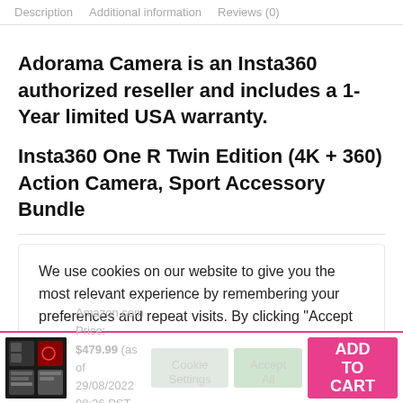Description   Additional information   Reviews (0)
Adorama Camera is an Insta360 authorized reseller and includes a 1-Year limited USA warranty.
Insta360 One R Twin Edition (4K + 360) Action Camera, Sport Accessory Bundle
We use cookies on our website to give you the most relevant experience by remembering your preferences and repeat visits. By clicking “Accept All”, you consent to the use of ALL the cookies. However, you may visit “Cookie Settings” to provide a controlled consent.
Amazon.com Price: $479.99 (as of 29/08/2022 08:36 PST- Details)